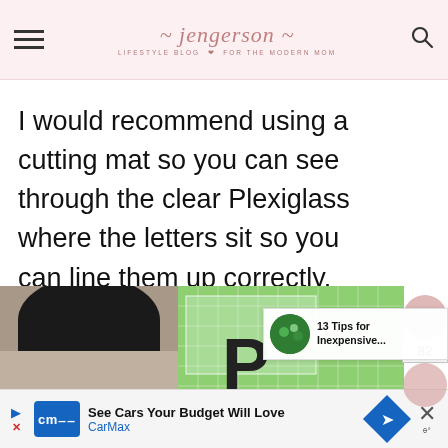jengerson — LIFESTYLE BLOG FOR THE MODERN MOM
I would recommend using a cutting mat so you can see through the clear Plexiglass where the letters sit so you can line them up correctly.
[Figure (photo): Photo showing a dark circular object on carpet (left) and a green cutting mat with clear Plexiglass and black letter on it (right)]
13 Tips for Inexpensive...
See Cars Your Budget Will Love — CarMax (advertisement)